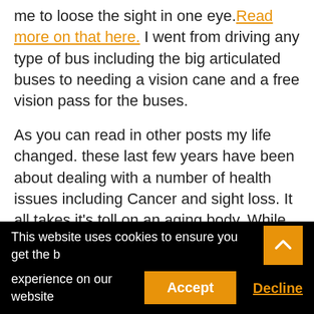It was a great job until an incident that caused me to loose the sight in one eye. Read more on that here. I went from driving any type of bus including the big articulated buses to needing a vision cane and a free vision pass for the buses.
As you can read in other posts my life changed. these last few years have been about dealing with a number of health issues including Cancer and sight loss. It all takes it's toll on an aging body. While the worst is over I have come to accept my situation.
This website uses cookies to ensure you get the best experience on our website